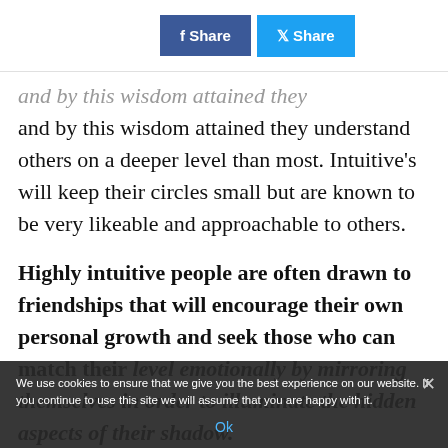[Figure (screenshot): Social share buttons: Facebook Share (blue) and Twitter Share (light blue)]
and by this wisdom attained they understand others on a deeper level than most. Intuitive's will keep their circles small but are known to be very likeable and approachable to others.
Highly intuitive people are often drawn to friendships that will encourage their own personal growth and seek those who can match their level emotionally by mirroring themselves in order to illuminate the hidden aspects of their shadow.
We use cookies to ensure that we give you the best experience on our website. If you continue to use this site we will assume that you are happy with it. Ok